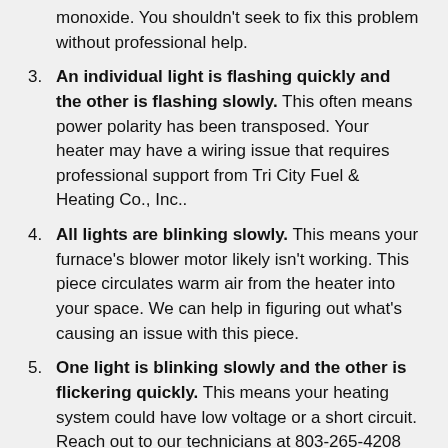monoxide. You shouldn't seek to fix this problem without professional help.
3. An individual light is flashing quickly and the other is flashing slowly. This often means power polarity has been transposed. Your heater may have a wiring issue that requires professional support from Tri City Fuel & Heating Co., Inc..
4. All lights are blinking slowly. This means your furnace's blower motor likely isn't working. This piece circulates warm air from the heater into your space. We can help in figuring out what's causing an issue with this piece.
5. One light is blinking slowly and the other is flickering quickly. This means your heating system could have low voltage or a short circuit. Reach out to our technicians at 803-265-4208 for support.
6. One light is flashing on, on and off while the